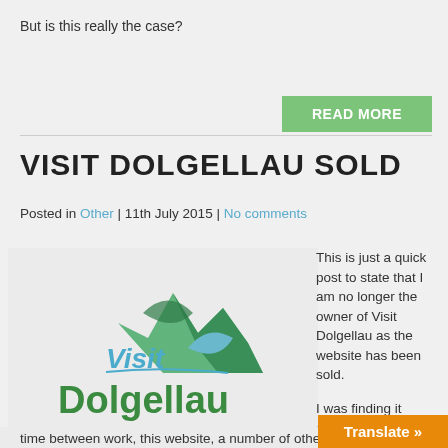But is this really the case?
READ MORE
VISIT DOLGELLAU SOLD
Posted in Other | 11th July 2015 | No comments
[Figure (logo): Visit Dolgellau logo with green mountain/leaf shape and teal script 'Visit' text above bold green 'Dolgellau' text]
This is just a quick post to state that I am no longer the owner of Visit Dolgellau as the website has been sold.
I was finding it difficult to
time between work, this website, a number of othe
Translate »